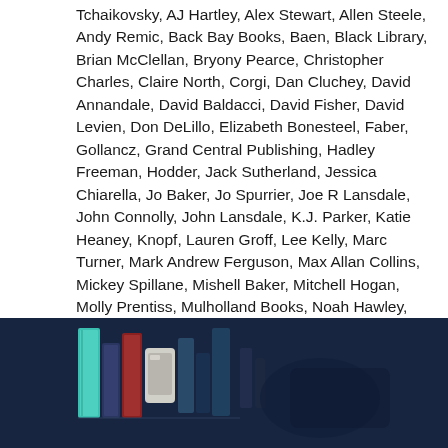Tchaikovsky, AJ Hartley, Alex Stewart, Allen Steele, Andy Remic, Back Bay Books, Baen, Black Library, Brian McClellan, Bryony Pearce, Christopher Charles, Claire North, Corgi, Dan Cluchey, David Annandale, David Baldacci, David Fisher, David Levien, Don DeLillo, Elizabeth Bonesteel, Faber, Gollancz, Grand Central Publishing, Hadley Freeman, Hodder, Jack Sutherland, Jessica Chiarella, Jo Baker, Jo Spurrier, Joe R Lansdale, John Connolly, John Lansdale, K.J. Parker, Katie Heaney, Knopf, Lauren Groff, Lee Kelly, Marc Turner, Mark Andrew Ferguson, Max Allan Collins, Mickey Spillane, Mishell Baker, Mitchell Hogan, Molly Prentiss, Mulholland Books, Noah Hawley, Orbit, Patrick Hemstreet, Penguin, Pierce Brown, Plume, Rachel Dunne, Riverhead Books, SB Divya, Scout Press, Scribner, Shane Kuhn, Simon Kurt Unsworth, Stripes Books, Stuart Stevens, Subterranean Press, Teddy Wayne, Thomas Dunne Books, Tim Lebbon, Titan Books, Tor Books, Tor Teen, Tor UK, Tor.com, Touchstone, Transworld, Victor Pelevin, Voyager, William Shatner, Willow Palecek
[Figure (illustration): Illustration showing colorful stylized books and objects against a dark blue background, partially visible at the bottom of the page.]